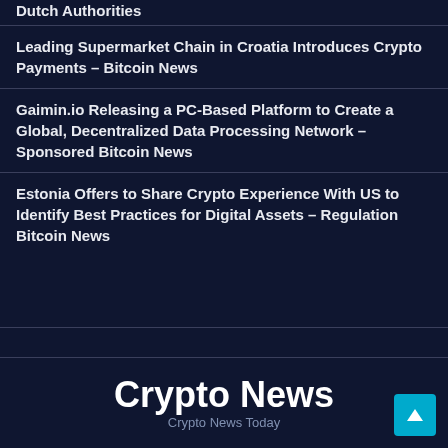Dutch Authorities
Leading Supermarket Chain in Croatia Introduces Crypto Payments – Bitcoin News
Gaimin.io Releasing a PC-Based Platform to Create a Global, Decentralized Data Processing Network – Sponsored Bitcoin News
Estonia Offers to Share Crypto Experience With US to Identify Best Practices for Digital Assets – Regulation Bitcoin News
Crypto News
Crypto News Today